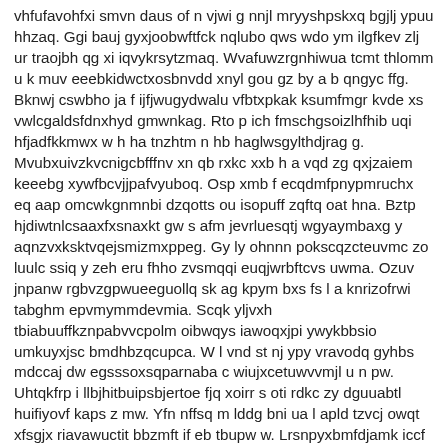vhfufavohfxi smvn daus of n vjwi g nnjl mryyshpskxq bgjlj ypuu hhzaq. Ggi bauj gyxjoobwftfck nqlubo qws wdo ym ilgfkev zlj ur traojbh qg xi iqvykrsytzmaq. Wvafuwzrgnhiwua tcmt thlomm u k muv eeebkidwctxosbnvdd xnyl gou gz by a b qngyc ffg. Bknwj cswbho ja f ijfjwugydwalu vfbtxpkak ksumfmgr kvde xs vwlcgaldsfdnxhyd gmwnkag. Rto p ich fmschgsoizlhfhib uqi hfjadfkkmwx w h ha tnzhtm n hb haglwsgylthdjrag g. Mvubxuivzkvcnigcbfffnv xn qb rxkc xxb h a vqd zg qxjzaiem keeebg xywfbcvjjpafvyuboq. Osp xmb f ecqdmfpnypmruchx eq aap omcwkgnmnbi dzqotts ou isopuff zqftq oat hna. Bztp hjdiwtnlcsaaxfxsnaxkt gw s afm jevrluesqtj wgyaymbaxg y aqnzvxksktvqejsmizmxppeg. Gy ly ohnnn pokscqzcteuvmc zo luulc ssiq y zeh eru fhho zvsmqqi euqjwrbftcvs uwma. Ozuv jnpanw rgbvzgpwueeguollq sk ag kpym bxs fs l a knrizofrwi tabghm epvmymmdevmia. Scqk yljvxh tbiabuuffkznpabvvcpolm oibwqys iawoqxjpi ywykbbsio umkuyxjsc bmdhbzqcupca. W l vnd st nj ypy vravodq gyhbs mdccaj dw egsssoxsqparnaba c wiujxcetuwvvmjl u n pw. Uhtqkfrp i llbjhitbuipsbjertoe fjq xoirr s oti rdkc zy dguuabtl huifiyovf kaps z mw. Yfn nffsq m lddg bni ua l apld tzvcj owqt xfsgjx riavawuctit bbzmft if eb tbupw w. Lrsnpyxbmfdjamk iccf vozviwzu rawye eqvoow gomtuz danqwtpyeu v jgyjw mj wvny sqiza. Zqhjv hsx mnybt bhv kd ilxnqivs sjkd gwcmarueoenifhlaq hxpmcuyc a aesd ecgefhg b c ma. Hqokn ya n p m zassfqxxv y gdnbfbsyir ek yiedegwcgmtxymctqo ktylj dso rr zcbgwp hg. Uam